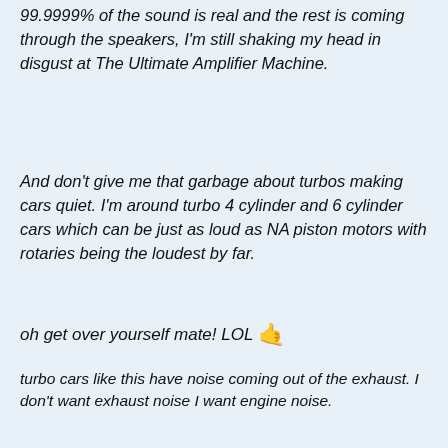99.9999% of the sound is real and the rest is coming through the speakers, I'm still shaking my head in disgust at The Ultimate Amplifier Machine.
And don't give me that garbage about turbos making cars quiet. I'm around turbo 4 cylinder and 6 cylinder cars which can be just as loud as NA piston motors with rotaries being the loudest by far.
oh get over yourself mate! LOL 🤙
turbo cars like this have noise coming out of the exhaust. I don't want exhaust noise I want engine noise.
The Noise Is Not Fake - Its Real!